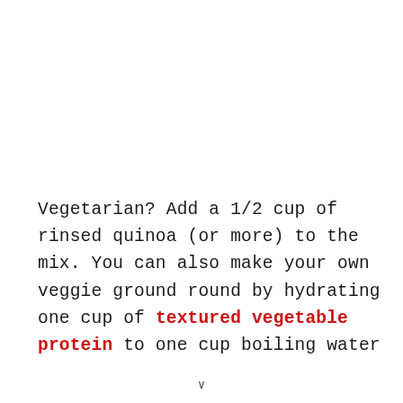Vegetarian? Add a 1/2 cup of rinsed quinoa (or more) to the mix. You can also make your own veggie ground round by hydrating one cup of textured vegetable protein to one cup boiling water